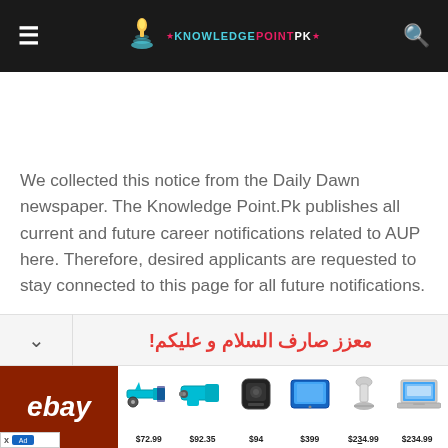≡  ★ KNOWLEDGE POINT PK ★  🔍
We collected this notice from the Daily Dawn newspaper. The Knowledge Point.Pk publishes all current and future career notifications related to AUP here. Therefore, desired applicants are requested to stay connected to this page for all future notifications.
معزز صارف السلام و علیکم!
[Figure (other): eBay advertisement banner showing products: power tool at $72.99, drill kit at $92.35, Bluetooth speaker at $94, tablet at $399, vacuum at $234.99, laptop at $234.99]